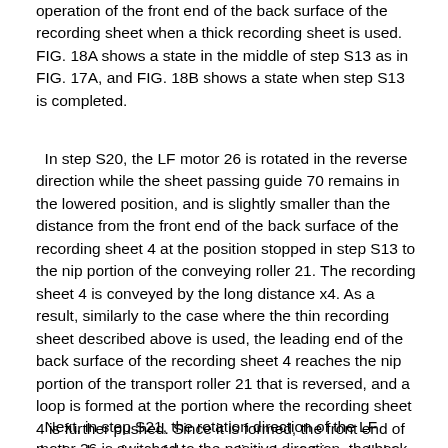operation of the front end of the back surface of the recording sheet when a thick recording sheet is used. FIG. 18A shows a state in the middle of step S13 as in FIG. 17A, and FIG. 18B shows a state when step S13 is completed.
In step S20, the LF motor 26 is rotated in the reverse direction while the sheet passing guide 70 remains in the lowered position, and is slightly smaller than the distance from the front end of the back surface of the recording sheet 4 at the position stopped in step S13 to the nip portion of the conveying roller 21. The recording sheet 4 is conveyed by the long distance x4. As a result, similarly to the case where the thin recording sheet described above is used, the leading end of the back surface of the recording sheet 4 reaches the nip portion of the transport roller 21 that is reversed, and a loop is formed at the portion where the recording sheet 4 is further pushed. Since it is formed, the front end of the back surface of the recording sheet 4 is parallel to the conveying roller 21, and the registration operation is completed. FIG. 18C shows a state when step S20 is completed.
Next, in step S21, the rotation direction of the LF motor 26 is switched to the positive direction, the back end of the